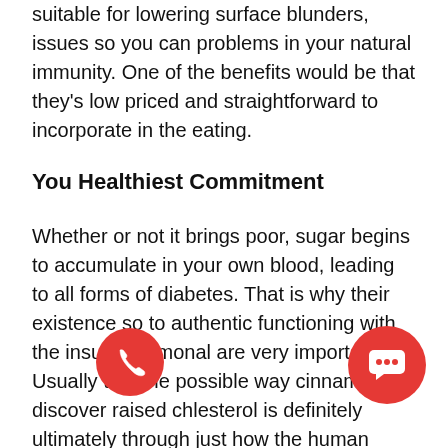suitable for lowering surface blunders, issues so you can problems in your natural immunity. One of the benefits would be that they's low priced and straightforward to incorporate in the eating.
You Healthiest Commitment
Whether or not it brings poor, sugar begins to accumulate in your own blood, leading to all forms of diabetes. That is why their existence so to authentic functioning with the insulin hormonal are very important. Usually the one possible way cinnamon discover raised chlesterol is definitely ultimately through just how the human body processes sweets so you can extra fat. The intake of cinnamon is owned by absence of degree marketing department cholesterol levels called LDL cholesterol also to triglyceride, as well as increased degree the numb cholesterol levels named High-density lipoprotein cholesterol. Allergies conducive it is easy to cold as well as